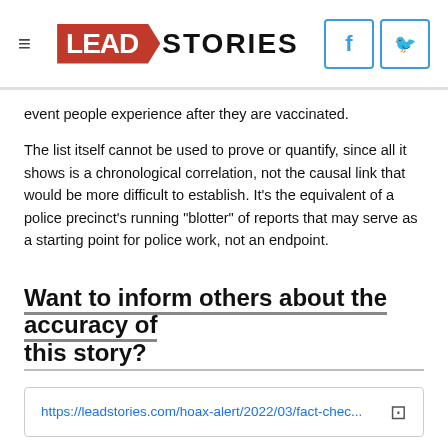LEAD STORIES
event people experience after they are vaccinated.
The list itself cannot be used to prove or quantify, since all it shows is a chronological correlation, not the causal link that would be more difficult to establish. It's the equivalent of a police precinct's running "blotter" of reports that may serve as a starting point for police work, not an endpoint.
Want to inform others about the accuracy of this story?
https://leadstories.com/hoax-alert/2022/03/fact-chec...
Click this link to copy it to your clipboard
See who is sharing it (it might even be your friends...) and leave the link in the comments.: